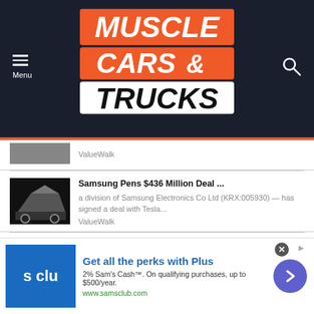[Figure (logo): Muscle Cars & Trucks logo with orange and white bold text on dark navy background with menu and search icons]
ValueWalk
Samsung Pens $436 Million Deal ...
a division of Samsung Electronics Co Ltd (KRX:005930) — has signed a deal with Tesla...
ValueWalk
Chinese Government's Love Affair...
Stanphyl Capital's commentary for the month ended June 30, discussing their short pos...
ValueWalk
[Figure (infographic): Advertisement: Sam's Club - Get all the perks with Plus. 2% Sam's Cash™. On qualifying purchases, up to $500/year. www.samsclub.com]